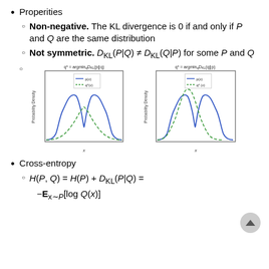Properities
Non-negative. The KL divergence is 0 if and only if P and Q are the same distribution
Not symmetric. D_KL(P|Q) ≠ D_KL(Q|P) for some P and Q
[Figure (continuous-plot): Two side-by-side plots showing KL divergence. Left: q* = argmin_q D_KL(p||q), bimodal blue p(x) with single-mode green dashed q*(x) fitting between. Right: q* = argmin_q D_KL(q||p), bimodal blue p(x) with single-mode green dashed q*(x) covering one peak. Both have Probability Density y-axis and x x-axis.]
Cross-entropy